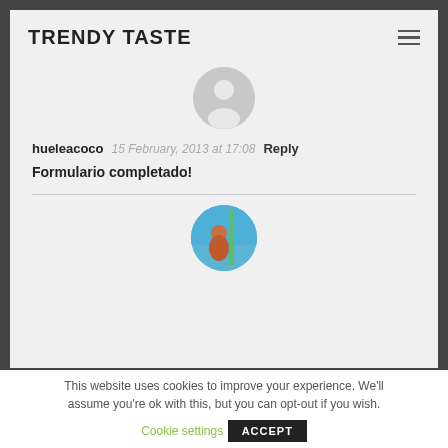TRENDY TASTE
[Figure (illustration): Grey circular avatar placeholder with silhouette of a person]
hueleacoco   15 February, 2013 at 17:08   Reply
Formulario completado!
[Figure (photo): Circular profile photo of a person outdoors with blue sky and green pole in background]
This website uses cookies to improve your experience. We'll assume you're ok with this, but you can opt-out if you wish.
Cookie settings   ACCEPT